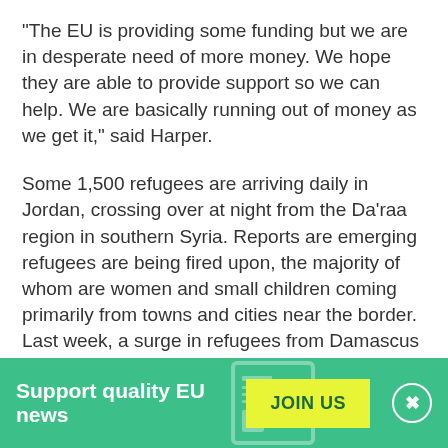"The EU is providing some funding but we are in desperate need of more money. We hope they are able to provide support so we can help. We are basically running out of money as we get it," said Harper.
Some 1,500 refugees are arriving daily in Jordan, crossing over at night from the Da'raa region in southern Syria. Reports are emerging refugees are being fired upon, the majority of whom are women and small children coming primarily from towns and cities near the border. Last week, a surge in refugees from Damascus also arrived in Jordan.
"We are trying to mitigate the costs of the camps and
[Figure (infographic): Green banner advertisement: 'Support quality EU news' with a yellow JOIN US button and a close (X) button on the right. A faint newspaper/grid icon appears in the background.]